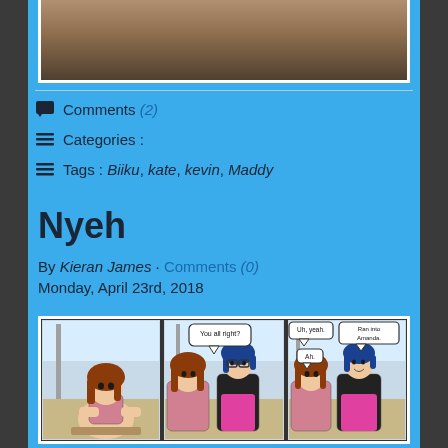[Figure (photo): Partial photo at top showing brown/dark surface, cropped]
Comments (2)
Categories :
Tags : Biiku, kate, kevin, Maddy
Nyeh
By Kieran James · Comments (0)
Monday, April 23rd, 2018
[Figure (illustration): Three-panel comic strip showing two female characters conversing. Panel 1: one character sitting. Panel 2: speech bubble 'You all right?' Panel 3: speech bubbles 'Uh, yeah.', 'Ran into Amanda.', 'Ah.']